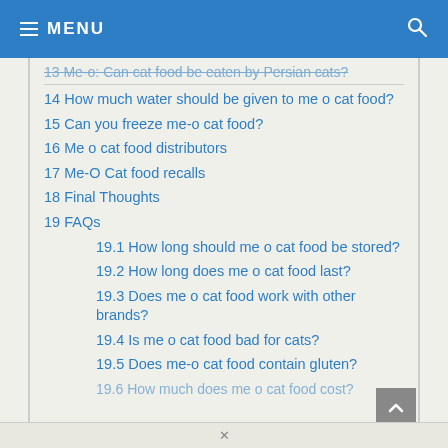MENU
13 Me-o: Can cat food be eaten by Persian cats?
14 How much water should be given to me o cat food?
15 Can you freeze me-o cat food?
16 Me o cat food distributors
17 Me-O Cat food recalls
18 Final Thoughts
19 FAQs
19.1 How long should me o cat food be stored?
19.2 How long does me o cat food last?
19.3 Does me o cat food work with other brands?
19.4 Is me o cat food bad for cats?
19.5 Does me-o cat food contain gluten?
19.6 How much does me o cat food cost?